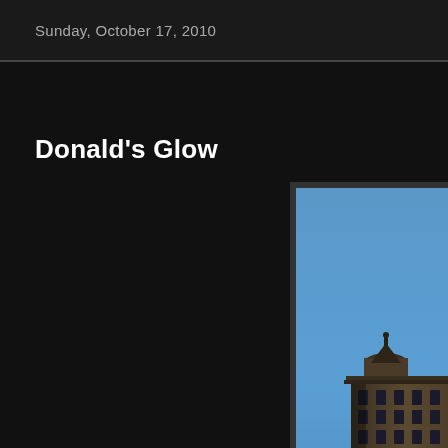Sunday, October 17, 2010
Donald's Glow
[Figure (photo): Partial view of a historic ornate building top against a clear blue sky, visible in the right portion of the page]